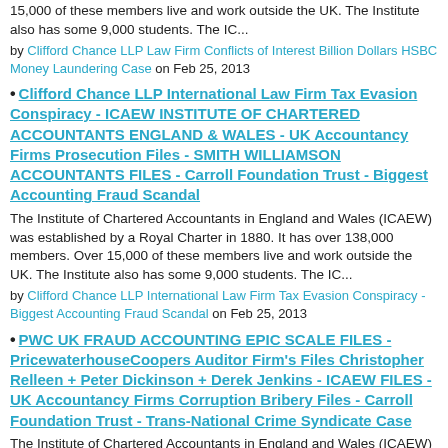15,000 of these members live and work outside the UK. The Institute also has some 9,000 students. The IC...
by Clifford Chance LLP Law Firm Conflicts of Interest Billion Dollars HSBC Money Laundering Case on Feb 25, 2013
Clifford Chance LLP International Law Firm Tax Evasion Conspiracy - ICAEW INSTITUTE OF CHARTERED ACCOUNTANTS ENGLAND & WALES - UK Accountancy Firms Prosecution Files - SMITH WILLIAMSON ACCOUNTANTS FILES - Carroll Foundation Trust - Biggest Accounting Fraud Scandal
The Institute of Chartered Accountants in England and Wales (ICAEW) was established by a Royal Charter in 1880. It has over 138,000 members. Over 15,000 of these members live and work outside the UK. The Institute also has some 9,000 students. The IC...
by Clifford Chance LLP International Law Firm Tax Evasion Conspiracy - Biggest Accounting Fraud Scandal on Feb 25, 2013
PWC UK FRAUD ACCOUNTING EPIC SCALE FILES - PricewaterhouseCoopers Auditor Firm's Files Christopher Relleen + Peter Dickinson + Derek Jenkins - ICAEW FILES - UK Accountancy Firms Corruption Bribery Files - Carroll Foundation Trust - Trans-National Crime Syndicate Case
The Institute of Chartered Accountants in England and Wales (ICAEW) was established by a Royal Charter in 1880. It has over 138,000 members. Over 15,000 of these members live and work outside the UK. The Institute also has some 9,000 students. The IC...